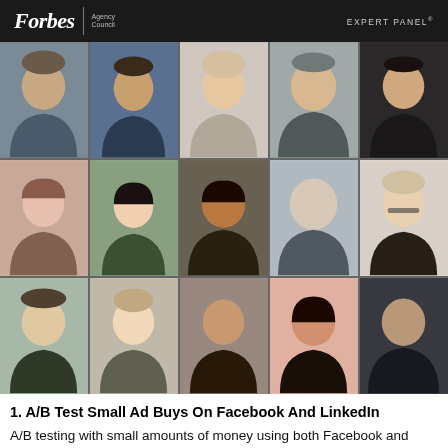Forbes Agency Council | EXPERT PANEL
[Figure (photo): Grid of 15 professional headshot photos of Forbes Agency Council expert panel members, arranged in 3 rows of 5 columns]
1. A/B Test Small Ad Buys On Facebook And LinkedIn
A/B testing with small amounts of money using both Facebook and LinkedIn is a good way to start your paid social media strategy. Facebook tends to have the better return on investment, while LinkedIn tends to have better reach. By testing both platforms out, small and midsized businesses can